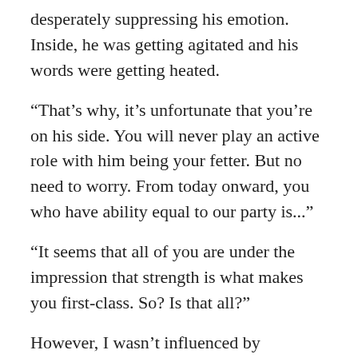desperately suppressing his emotion. Inside, he was getting agitated and his words were getting heated.
“That’s why, it’s unfortunate that you’re on his side. You will never play an active role with him being your fetter. But no need to worry. From today onward, you who have ability equal to our party is...”
“It seems that all of you are under the impression that strength is what makes you first-class. So? Is that all?”
However, I wasn’t influenced by Morzeral’s invitation.
Conversely, I scoffed at his words.